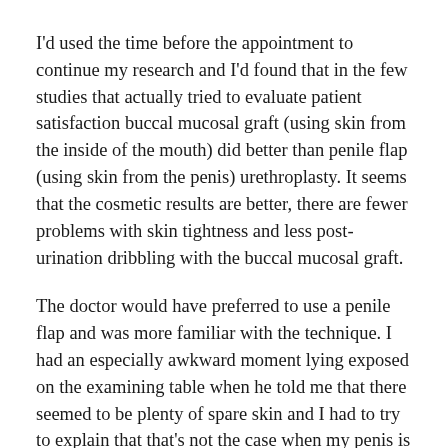I'd used the time before the appointment to continue my research and I'd found that in the few studies that actually tried to evaluate patient satisfaction buccal mucosal graft (using skin from the inside of the mouth) did better than penile flap (using skin from the penis) urethroplasty. It seems that the cosmetic results are better, there are fewer problems with skin tightness and less post-urination dribbling with the buccal mucosal graft.
The doctor would have preferred to use a penile flap and was more familiar with the technique. I had an especially awkward moment lying exposed on the examining table when he told me that there seemed to be plenty of spare skin and I had to try to explain that that's not the case when my penis is erect.
He'd already discussed my case with a colleague in